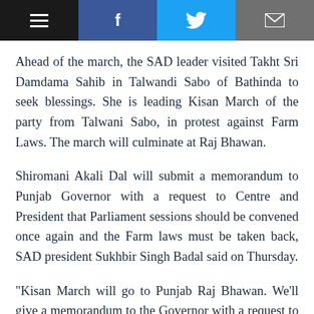[Social share bar: menu, Facebook, Twitter, Email, WhatsApp]
Ahead of the march, the SAD leader visited Takht Sri Damdama Sahib in Talwandi Sabo of Bathinda to seek blessings. She is leading Kisan March of the party from Talwani Sabo, in protest against Farm Laws. The march will culminate at Raj Bhawan.
Shiromani Akali Dal will submit a memorandum to Punjab Governor with a request to Centre and President that Parliament sessions should be convened once again and the Farm laws must be taken back, SAD president Sukhbir Singh Badal said on Thursday.
"Kisan March will go to Punjab Raj Bhawan. We'll give a memorandum to the Governor with a request to centre